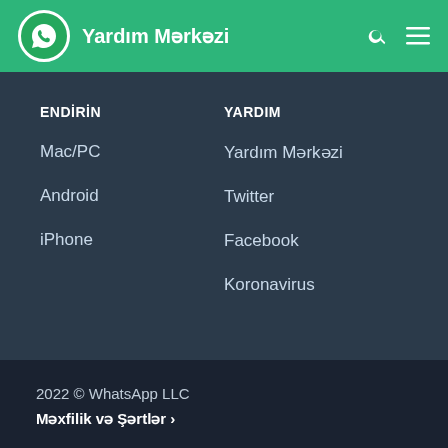Yardım Mərkəzi
ENDİRİN
Mac/PC
Android
iPhone
YARDIM
Yardım Mərkəzi
Twitter
Facebook
Koronavirus
2022 © WhatsApp LLC
Məxfilik və Şərtlər >